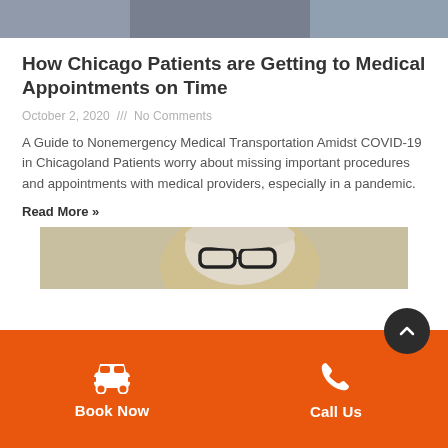[Figure (photo): Top partial image of people, cropped at top of page]
How Chicago Patients are Getting to Medical Appointments on Time
October 2, 2020 /// No Comments
A Guide to Nonemergency Medical Transportation Amidst COVID-19 in Chicagoland Patients worry about missing important procedures and appointments with medical providers, especially in a pandemic.
Read More »
[Figure (photo): Partial image of elderly person with glasses, cropped at bottom]
Book Now
Call Us